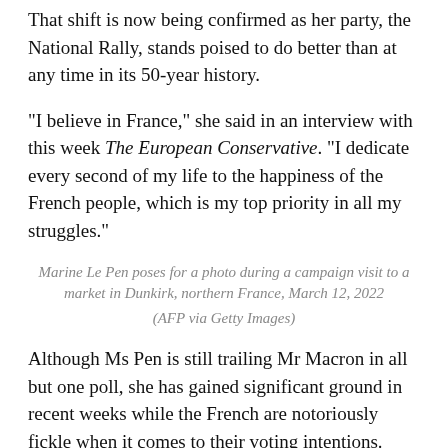That shift is now being confirmed as her party, the National Rally, stands poised to do better than at any time in its 50-year history.
“I believe in France,” she said in an interview with this week The European Conservative. “I dedicate every second of my life to the happiness of the French people, which is my top priority in all my struggles.”
Marine Le Pen poses for a photo during a campaign visit to a market in Dunkirk, northern France, March 12, 2022
(AFP via Getty Images)
Although Ms Pen is still trailing Mr Macron in all but one poll, she has gained significant ground in recent weeks while the French are notoriously fickle when it comes to their voting intentions.